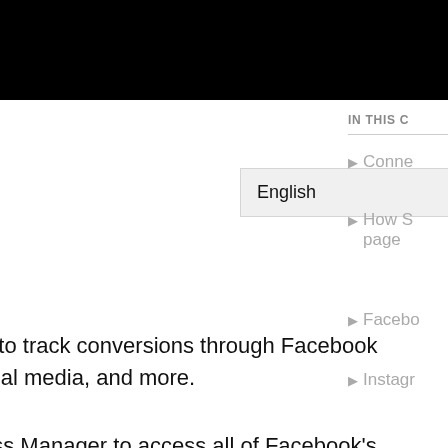g to track conversions through Facebook
icial media, and more.
ess Manager to access all of Facebook's
nter with the Squarespace Help Center. This
ness Manager
IN THIS C
Conne
How S
page
Facebo
Instagr